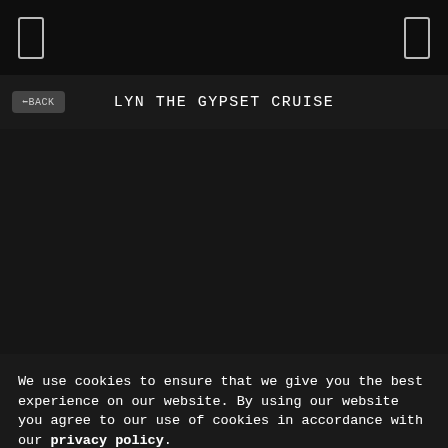LYN THE GYPSET CRUISE
[Figure (screenshot): Dark content area, mostly black/very dark background with no visible content]
We use cookies to ensure that we give you the best experience on our website. By using our website you agree to our use of cookies in accordance with our privacy policy.
Accept